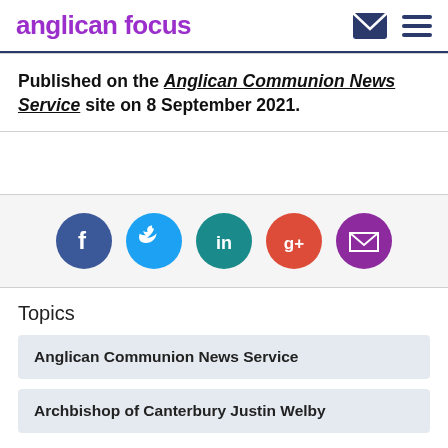anglican focus
Published on the Anglican Communion News Service site on 8 September 2021.
[Figure (infographic): Row of five social media share icons: Facebook (dark blue circle with 'f'), Twitter (light blue circle with bird icon), LinkedIn (teal circle with 'in'), Google+ (orange-red circle with 'g+'), Email (purple circle with envelope icon)]
Topics
Anglican Communion News Service
Archbishop of Canterbury Justin Welby